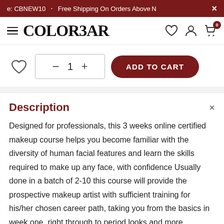e: CBNEW10  ·  Free Shipping On Orders Above N  ×
[Figure (logo): Colorbar logo with hamburger menu icon on the left and heart, user, cart icons on the right]
♡  −  1  +  ADD TO CART
Description
Designed for professionals, this 3 weeks online certified makeup course helps you become familiar with the diversity of human facial features and learn the skills required to make up any face, with confidence Usually done in a batch of 2-10 this course will provide the prospective makeup artist with sufficient training for his/her chosen career path, taking you from the basics in week one, right through to period looks and more technical structures, for high definition media.